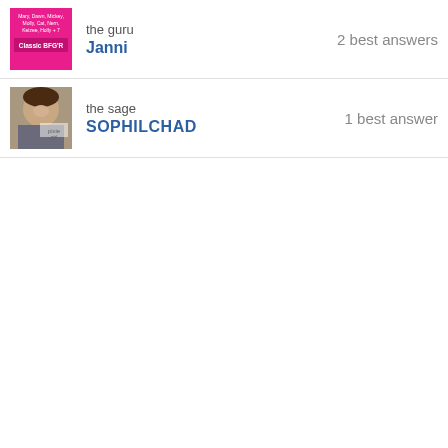the guru Janni — 2 best answers
the sage SOPHILCHAD — 1 best answer